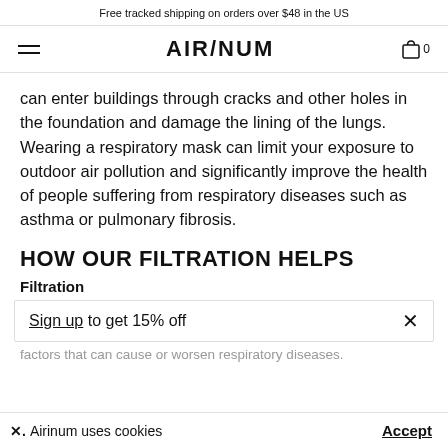Free tracked shipping on orders over $48 in the US
[Figure (logo): Airinum logo with hamburger menu icon and shopping cart icon with 0 items]
can enter buildings through cracks and other holes in the foundation and damage the lining of the lungs. Wearing a respiratory mask can limit your exposure to outdoor air pollution and significantly improve the health of people suffering from respiratory diseases such as asthma or pulmonary fibrosis.
HOW OUR FILTRATION HELPS
Filtration
Sign up to get 15% off
factors that can cause or worsen respiratory diseases.
Airinum uses cookies
Accept